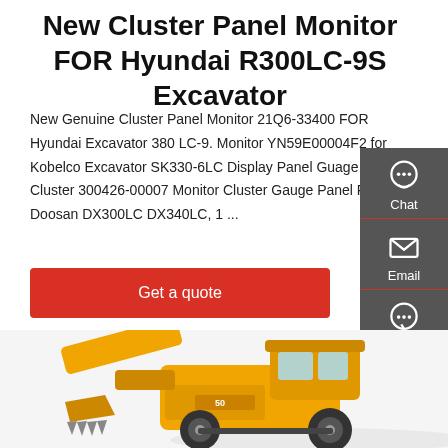New Cluster Panel Monitor FOR Hyundai R300LC-9S Excavator
New Genuine Cluster Panel Monitor 21Q6-33400 FOR Hyundai Excavator 380 LC-9. Monitor YN59E00004F2 for Kobelco Excavator SK330-6LC Display Panel Guage Cluster 300426-00007 Monitor Cluster Gauge Panel For Doosan DX300LC DX340LC, 1 ...
Get a quote
[Figure (illustration): Yellow wheel loader / excavator construction machine photographed from the front-left, partially cropped at the bottom of the page. Machine appears to be a SDLG or similar brand.]